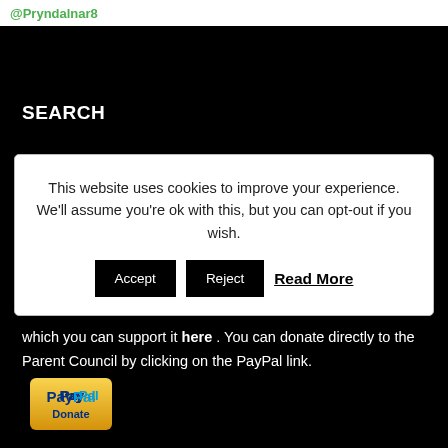@Pryndalnar8
SEARCH
This website uses cookies to improve your experience. We'll assume you're ok with this, but you can opt-out if you wish.
Accept | Reject | Read More
which you can support it here . You can donate directly to the Parent Council by clicking on the PayPal link.
[Figure (logo): PayPal Donate button logo]
PAGES